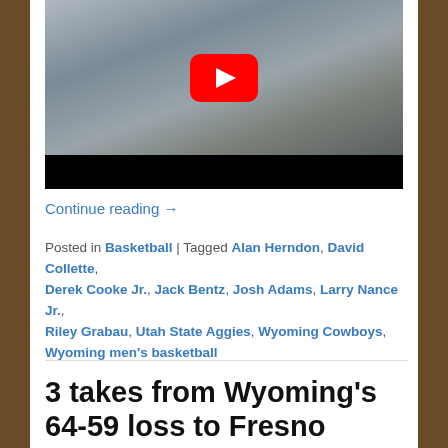[Figure (screenshot): YouTube video thumbnail showing a man in a gray sweatshirt sitting in a room with a desk and filing cabinet. A red YouTube play button overlay is centered on the upper portion of the image. The lower portion of the video frame is black.]
Continue reading →
Posted in Basketball | Tagged Alan Herndon, David Collette, Derek Cooke Jr., Jack Bentz, Josh Adams, Larry Nance Jr., Riley Grabau, Utah State Aggies, Wyoming Cowboys, Wyoming men's basketball
3 takes from Wyoming's 64-59 loss to Fresno